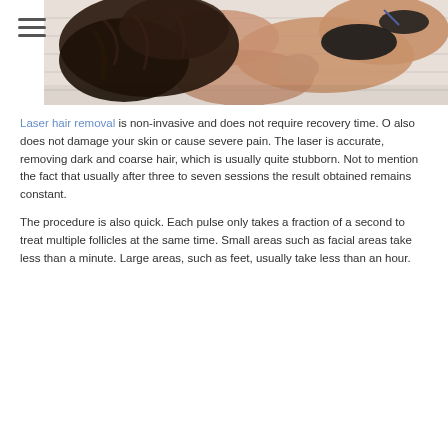[Figure (photo): A woman in a black bikini top with long dark curly hair, lying down, photographed from above on a white striped surface.]
Laser hair removal is non-invasive and does not require recovery time. O also does not damage your skin or cause severe pain. The laser is accurate, removing dark and coarse hair, which is usually quite stubborn. Not to mention the fact that usually after three to seven sessions the result obtained remains constant.
The procedure is also quick. Each pulse only takes a fraction of a second to treat multiple follicles at the same time. Small areas such as facial areas take less than a minute. Large areas, such as feet, usually take less than an hour.